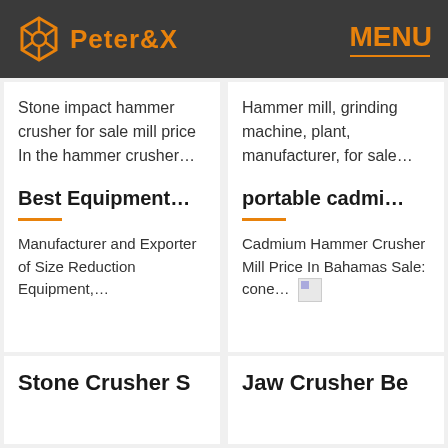Peter&X  MENU
Stone impact hammer crusher for sale mill price
In the hammer crusher…
Hammer mill, grinding machine, plant, manufacturer, for sale…
Best Equipment…
Manufacturer and Exporter of Size Reduction Equipment,…
portable cadmi…
Cadmium Hammer Crusher Mill Price In Bahamas Sale: cone…
Stone Crusher S
Jaw Crusher Be